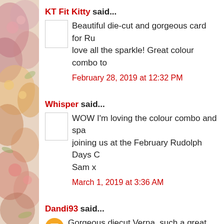[Figure (illustration): Decorative watercolor floral image strip on the left side of the page]
KT Fit Kitty said... Beautiful die-cut and gorgeous card for Ru... love all the sparkle! Great colour combo to... February 28, 2019 at 12:32 PM
Whisper said... WOW I'm loving the colour combo and spa... joining us at the February Rudolph Days C... Sam x March 1, 2019 at 3:36 AM
Dandi93 said... Gorgeous diecut Verna, such a great idea...